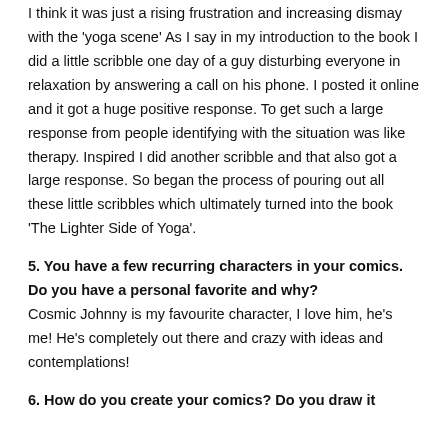I think it was just a rising frustration and increasing dismay with the 'yoga scene' As I say in my introduction to the book I did a little scribble one day of a guy disturbing everyone in relaxation by answering a call on his phone. I posted it online and it got a huge positive response. To get such a large response from people identifying with the situation was like therapy. Inspired I did another scribble and that also got a large response. So began the process of pouring out all these little scribbles which ultimately turned into the book 'The Lighter Side of Yoga'.
5. You have a few recurring characters in your comics. Do you have a personal favorite and why? Cosmic Johnny is my favourite character, I love him, he's me! He's completely out there and crazy with ideas and contemplations!
6. How do you create your comics? Do you draw it